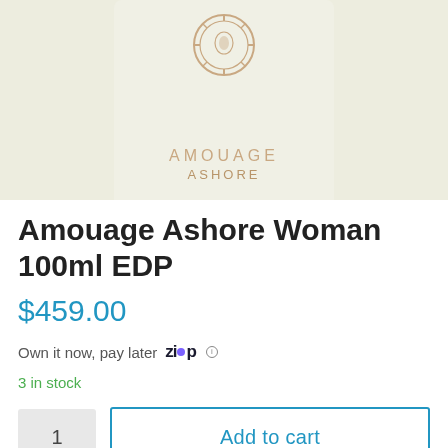[Figure (photo): Partial view of Amouage Ashore fragrance box/bottle in cream/ivory color with brand logo medallion at top and text AMOUAGE ASHORE in gold lettering]
Amouage Ashore Woman 100ml EDP
$459.00
Own it now, pay later  ZIP  ⓘ
3 in stock
Add to cart